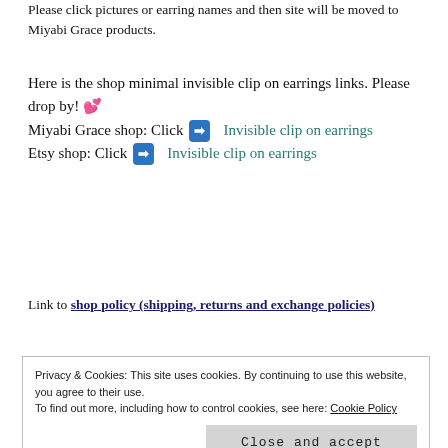Please click pictures or earring names and then site will be moved to Miyabi Grace products.
Here is the shop minimal invisible clip on earrings links. Please drop by! 💕 Miyabi Grace shop: Click ➡ Invisible clip on earrings Etsy shop: Click ➡ Invisible clip on earrings
Link to shop policy (shipping, returns and exchange policies)
Privacy & Cookies: This site uses cookies. By continuing to use this website, you agree to their use. To find out more, including how to control cookies, see here: Cookie Policy Close and accept